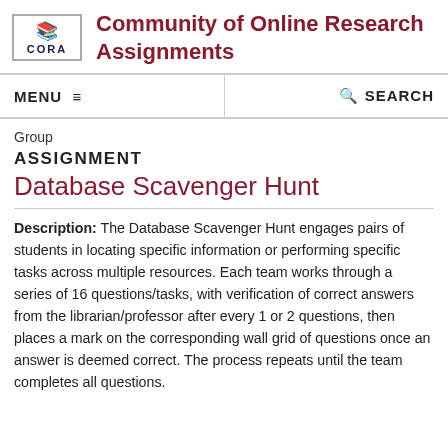CORA Community of Online Research Assignments
MENU  SEARCH
Group
ASSIGNMENT
Database Scavenger Hunt
Description: The Database Scavenger Hunt engages pairs of students in locating specific information or performing specific tasks across multiple resources. Each team works through a series of 16 questions/tasks, with verification of correct answers from the librarian/professor after every 1 or 2 questions, then places a mark on the corresponding wall grid of questions once an answer is deemed correct. The process repeats until the team completes all questions.